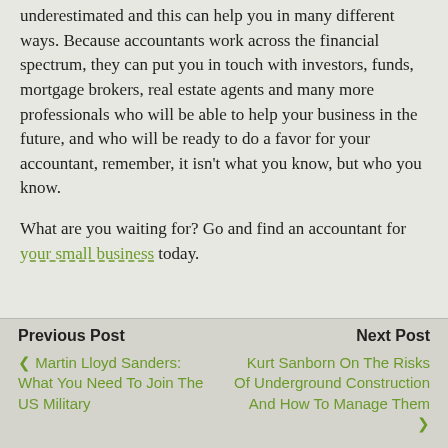underestimated and this can help you in many different ways. Because accountants work across the financial spectrum, they can put you in touch with investors, funds, mortgage brokers, real estate agents and many more professionals who will be able to help your business in the future, and who will be ready to do a favor for your accountant, remember, it isn't what you know, but who you know.
What are you waiting for? Go and find an accountant for your small business today.
Previous Post: < Martin Lloyd Sanders: What You Need To Join The US Military | Next Post: Kurt Sanborn On The Risks Of Underground Construction And How To Manage Them >